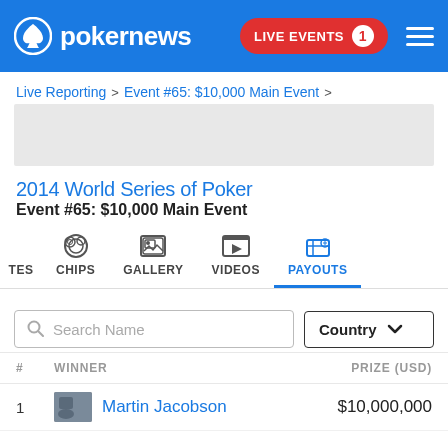pokernews | LIVE EVENTS 1
Live Reporting > Event #65: $10,000 Main Event >
[Figure (other): Advertisement placeholder gray box]
2014 World Series of Poker
Event #65: $10,000 Main Event
[Figure (other): Navigation tabs: CHIPS, GALLERY, VIDEOS, PAYOUTS (active)]
[Figure (other): Search bar with 'Search Name' placeholder and Country dropdown]
| # | WINNER | PRIZE (USD) |
| --- | --- | --- |
| 1 | Martin Jacobson | $10,000,000 |